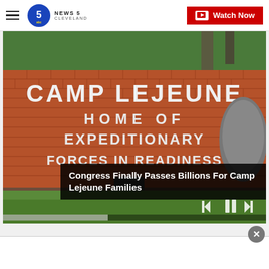NEWS 5 CLEVELAND — Watch Now
[Figure (photo): Entrance sign at Camp Lejeune Marine Corps Base, brick wall reading 'CAMP LEJEUNE HOME OF EXPEDITIONARY FORCES IN READINESS' with a Marine Corps emblem on the right, green lawn in foreground]
Congress Finally Passes Billions For Camp Lejeune Families